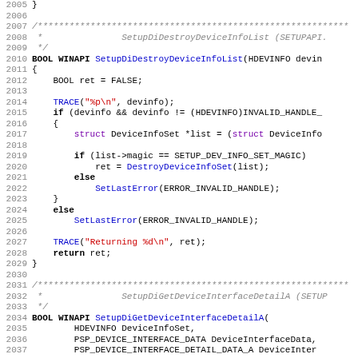[Figure (screenshot): Source code listing showing C function SetupDiDestroyDeviceInfoList and beginning of SetupDiGetDeviceInterfaceDetailA, with line numbers 2005-2037]